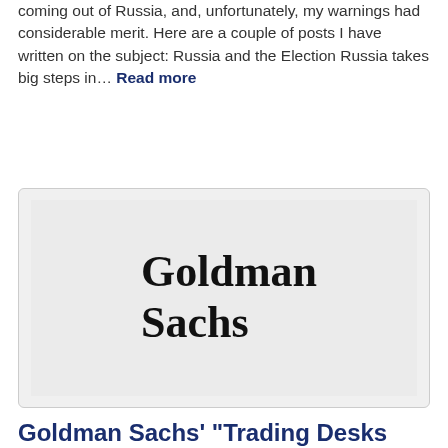coming out of Russia, and, unfortunately, my warnings had considerable merit. Here are a couple of posts I have written on the subject: Russia and the Election Russia takes big steps in... Read more
[Figure (logo): Goldman Sachs company logo displayed in bold serif font on a light grey background]
Goldman Sachs' "Trading Desks